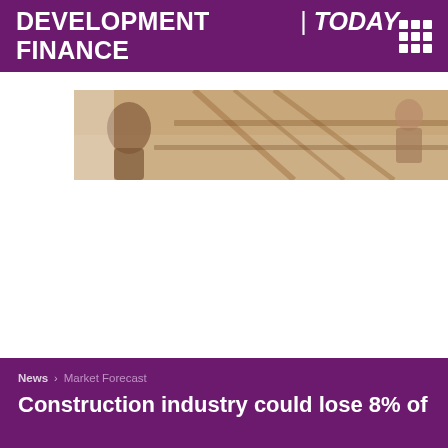DEVELOPMENT FINANCE | TODAY
[Figure (photo): Construction site photo showing workers or scaffolding structure, partially visible, blurred/cropped at top of image area]
News > Market Forecast
Construction industry could lose 8% of